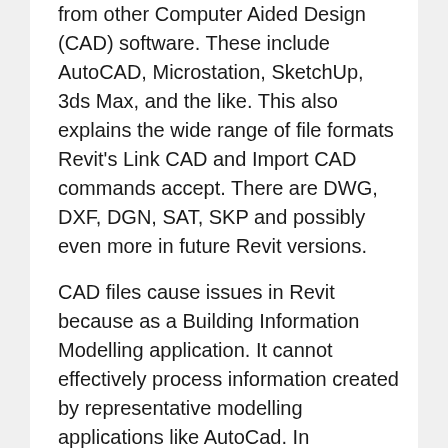from other Computer Aided Design (CAD) software. These include AutoCAD, Microstation, SketchUp, 3ds Max, and the like. This also explains the wide range of file formats Revit's Link CAD and Import CAD commands accept. There are DWG, DXF, DGN, SAT, SKP and possibly even more in future Revit versions.
CAD files cause issues in Revit because as a Building Information Modelling application. It cannot effectively process information created by representative modelling applications like AutoCad. In representative modelling, you only